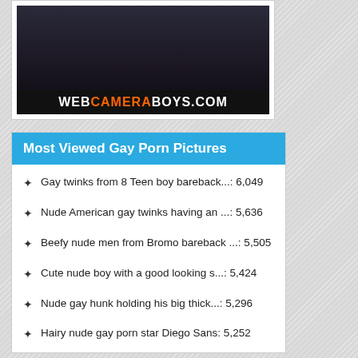[Figure (photo): Promotional banner image for webcameraboys.com showing a muscular male torso against a dark background, with the website name displayed at the bottom in white and orange text on a black band.]
Most Viewed Gay Porn Pictures
Gay twinks from 8 Teen boy bareback...: 6,049
Nude American gay twinks having an ...: 5,636
Beefy nude men from Bromo bareback ...: 5,505
Cute nude boy with a good looking s...: 5,424
Nude gay hunk holding his big thick...: 5,296
Hairy nude gay porn star Diego Sans: 5,252